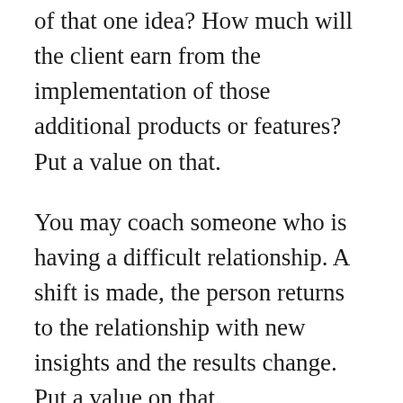of that one idea? How much will the client earn from the implementation of those additional products or features? Put a value on that.
You may coach someone who is having a difficult relationship. A shift is made, the person returns to the relationship with new insights and the results change. Put a value on that.
Your home study course may offer a new awareness to the person reading it and stop them from making a poor career decision and guide them to a satisfying, profitable one. Put